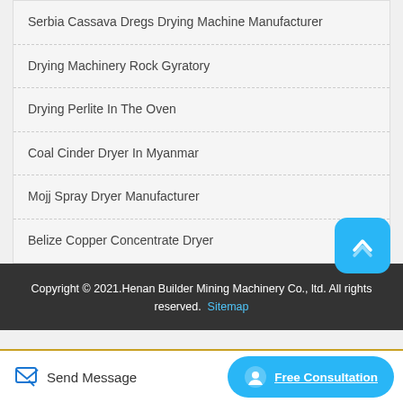Serbia Cassava Dregs Drying Machine Manufacturer
Drying Machinery Rock Gyratory
Drying Perlite In The Oven
Coal Cinder Dryer In Myanmar
Mojj Spray Dryer Manufacturer
Belize Copper Concentrate Dryer
Copyright © 2021.Henan Builder Mining Machinery Co., ltd. All rights reserved. Sitemap
Send Message
Free Consultation